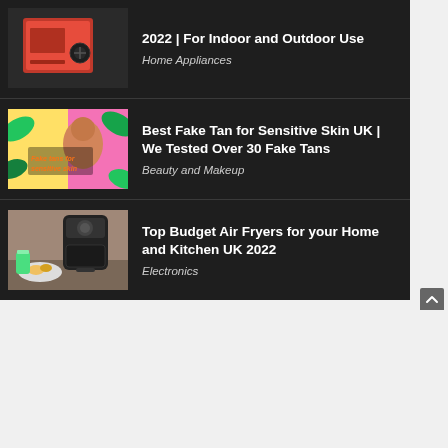[Figure (screenshot): Partial view of a red mini fridge or appliance thumbnail]
2022 | For Indoor and Outdoor Use
Home Appliances
[Figure (photo): Thumbnail showing fake tan product with person applying tan, colorful graphic background with text 'Fake tans for sensitive skin']
Best Fake Tan for Sensitive Skin UK | We Tested Over 30 Fake Tans
Beauty and Makeup
[Figure (photo): Thumbnail showing a black air fryer on a kitchen counter with food]
Top Budget Air Fryers for your Home and Kitchen UK 2022
Electronics